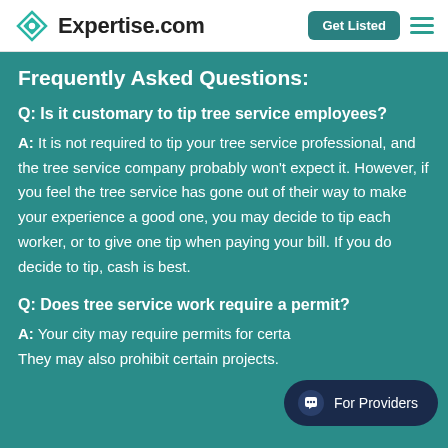Expertise.com | Get Listed
Frequently Asked Questions:
Q: Is it customary to tip tree service employees?
A: It is not required to tip your tree service professional, and the tree service company probably won't expect it. However, if you feel the tree service has gone out of their way to make your experience a good one, you may decide to tip each worker, or to give one tip when paying your bill. If you do decide to tip, cash is best.
Q: Does tree service work require a permit?
A: Your city may require permits for certa... They may also prohibit certain projects.